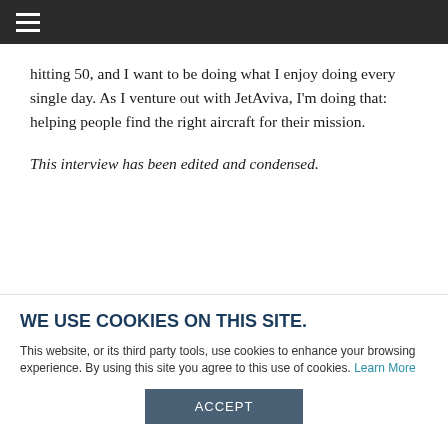Navigation menu (hamburger icon)
hitting 50, and I want to be doing what I enjoy doing every single day. As I venture out with JetAviva, I'm doing that: helping people find the right aircraft for their mission.
This interview has been edited and condensed.
[Figure (photo): Partial view of an aircraft or person, cropped at bottom of article section]
WE USE COOKIES ON THIS SITE.
This website, or its third party tools, use cookies to enhance your browsing experience. By using this site you agree to this use of cookies. Learn More
ACCEPT